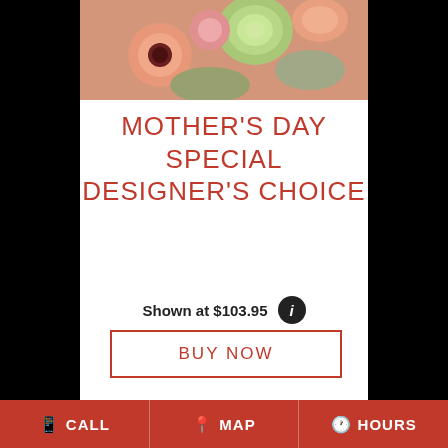[Figure (photo): Floral arrangement with peach, pink, and green flowers including ranunculus and gerbera daisies]
MOTHER'S DAY SPECIAL DESIGNER'S CHOICE
Shown at $103.95
BUY NOW
[Figure (photo): Partial view of a purple/lavender floral arrangement at bottom of page]
CALL  MAP  HOURS